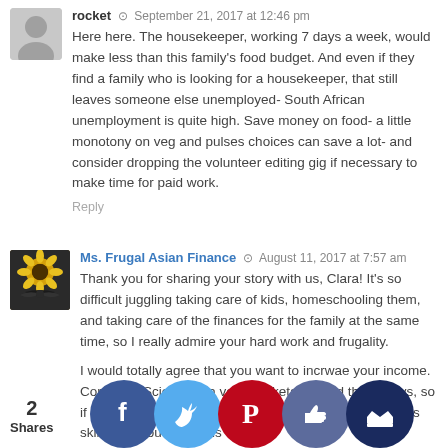rocket  September 21, 2017 at 12:46 pm
Here here. The housekeeper, working 7 days a week, would make less than this family's food budget. And even if they find a family who is looking for a housekeeper, that still leaves someone else unemployed- South African unemployment is quite high. Save money on food- a little monotony on veg and pulses choices can save a lot- and consider dropping the volunteer editing gig if necessary to make time for paid work.
Reply
Ms. Frugal Asian Finance  August 11, 2017 at 7:57 am
Thank you for sharing your story with us, Clara! It's so difficult juggling taking care of kids, homeschooling them, and taking care of the finances for the family at the same time, so I really admire your hard work and frugality.

I would totally agree that you want to incrwae your income. Computer Science is a very marketable field these days, so if B... atter... xpens... e cou... d free... re... s to im... his skills... it wou... ove his
2
Shares